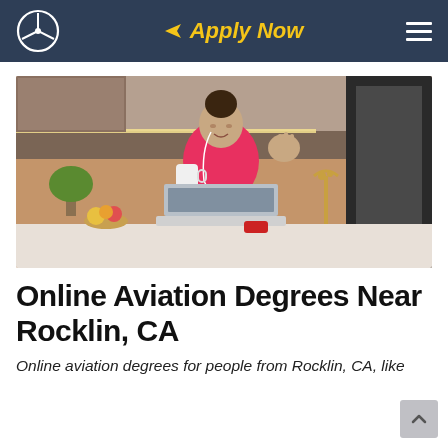Apply Now
[Figure (photo): Young woman in pink hoodie with earphones, waving and holding a coffee cup, sitting in front of a laptop in a modern kitchen setting.]
Online Aviation Degrees Near Rocklin, CA
Online aviation degrees for people from Rocklin, CA, like